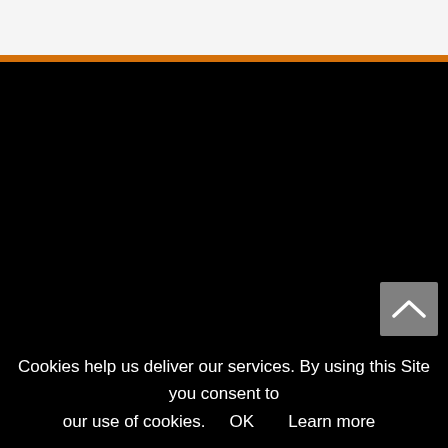[Figure (screenshot): Website screenshot showing a white header area at the top, an orange horizontal bar below it, then a large black content area taking up most of the page.]
Cookies help us deliver our services. By using this Site you consent to our use of cookies.  OK   Learn more